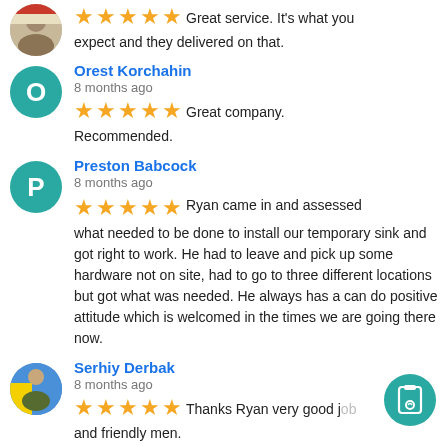Great service.  It's what you expect and they delivered on that.
Orest Korchahin
8 months ago
Great company. Recommended.
Preston Babcock
8 months ago
Ryan came in and assessed what needed to be done to install our temporary sink and got right to work. He had to leave and pick up some hardware not on site, had to go to three different locations but got what was needed. He always has a can do positive attitude which is welcomed in the times we are going there now.
Serhiy Derbak
8 months ago
Thanks Ryan very good j... and friendly men.